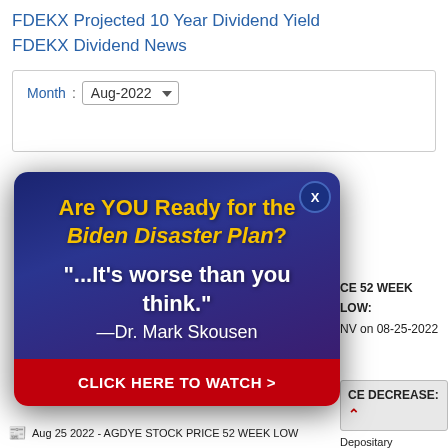FDEKX Projected 10 Year Dividend Yield
FDEKX Dividend News
Month : Aug-2022
[Figure (screenshot): Popup advertisement overlay with dark blue/purple gradient background. Headline: 'Are YOU Ready for the Biden Disaster Plan?' in yellow bold text. Quote: '"...It's worse than you think."' in white. Attribution: '—Dr. Mark Skousen' in white. Red button: 'CLICK HERE TO WATCH >'. Close button (X) in top right corner.]
CE 52 WEEK LOW: NV on 08-25-2022
CE DECREASE: Depositary Receipts/ABN AMRO Bank NV on 08-25-2022 0.63 to $9.32
Aug 25 2022 - AGDYE STOCK PRICE 52 WEEK LOW